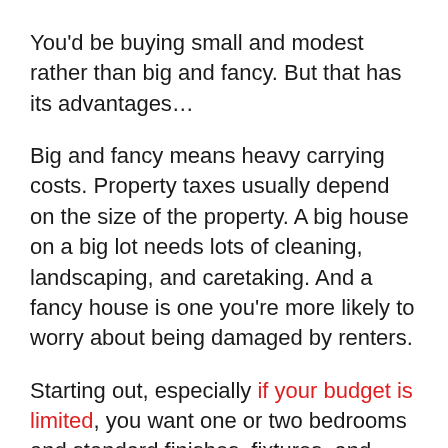You'd be buying small and modest rather than big and fancy. But that has its advantages…
Big and fancy means heavy carrying costs. Property taxes usually depend on the size of the property. A big house on a big lot needs lots of cleaning, landscaping, and caretaking. And a fancy house is one you're more likely to worry about being damaged by renters.
Starting out, especially if your budget is limited, you want one or two bedrooms and standard finishes, fixtures, and furnishings.
Fortunately, in looking overseas, this doesn't mean you need to compromise on charm. In Abruzzo and Béarn, for example, even US$50,000 to US$100,000 can buy you a lot of character…